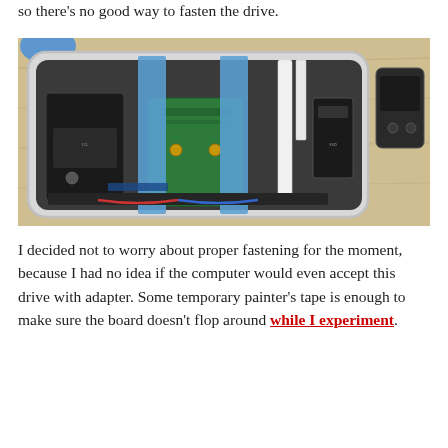so there's no good way to fasten the drive.
[Figure (photo): Open Mac Mini with internal components visible: battery, green PCB adapter card held down with blue painter's tape strips, ribbon cables, and other internal hardware on a wooden desk surface. A hard drive is visible to the right side outside the case.]
I decided not to worry about proper fastening for the moment, because I had no idea if the computer would even accept this drive with adapter. Some temporary painter's tape is enough to make sure the board doesn't flop around while I experiment.